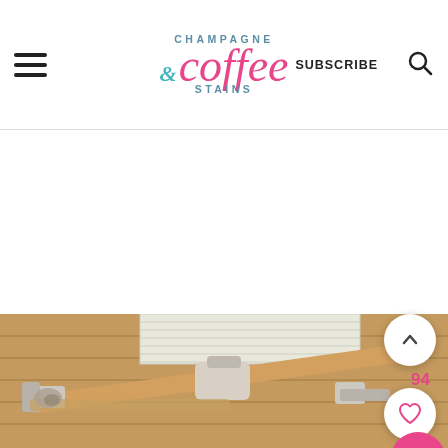Champagne & Coffee Stains | SUBSCRIBE
[Figure (photo): Photo of wooden stair gate / safety gate hardware mounted on wooden paneled wall with a pleated window shade in background. White metal hardware fittings visible on natural wood bar.]
[Figure (screenshot): Mobile website screenshot showing Champagne & Coffee Stains blog header with hamburger menu, logo, SUBSCRIBE link, search icon, scroll-up button showing caret, count 94, heart/like button, and pink search button.]